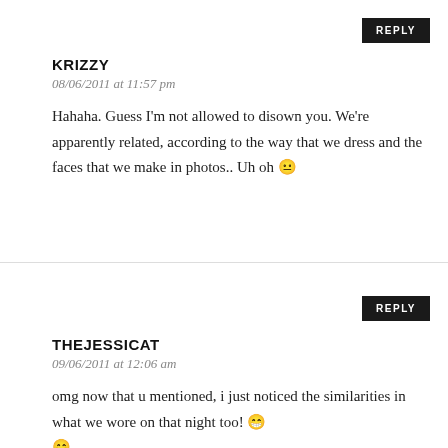REPLY
KRIZZY
08/06/2011 at 11:57 pm
Hahaha. Guess I'm not allowed to disown you. We're apparently related, according to the way that we dress and the faces that we make in photos.. Uh oh 😐
REPLY
THEJESSICAT
09/06/2011 at 12:06 am
omg now that u mentioned, i just noticed the similarities in what we wore on that night too! 😁 😁